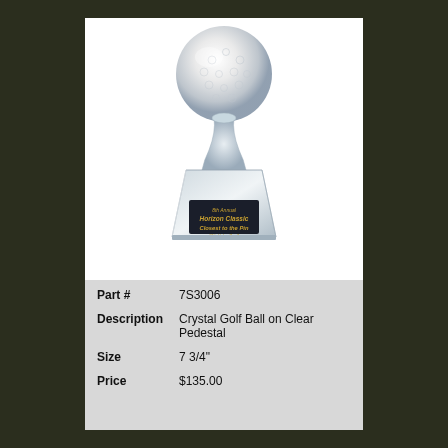[Figure (photo): Crystal golf ball trophy on a clear crystal pedestal base, with a dark plaque showing '8th Annual Horizon Classic Closest to the Pin 13th Hole - Par 3']
| Part # | 7S3006 |
| Description | Crystal Golf Ball on Clear Pedestal |
| Size | 7 3/4" |
| Price | $135.00 |